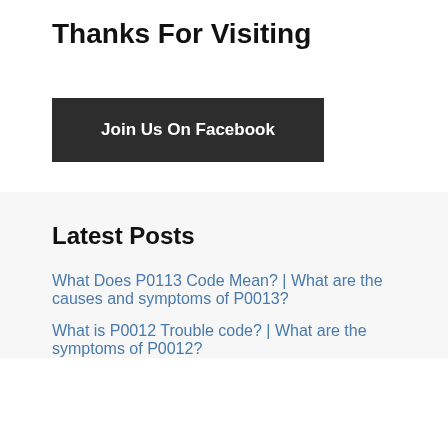Thanks For Visiting
[Figure (other): Dark button with white bold text: Join Us On Facebook]
Latest Posts
What Does P0113 Code Mean? | What are the causes and symptoms of P0013?
What is P0012 Trouble code? | What are the symptoms of P0012?